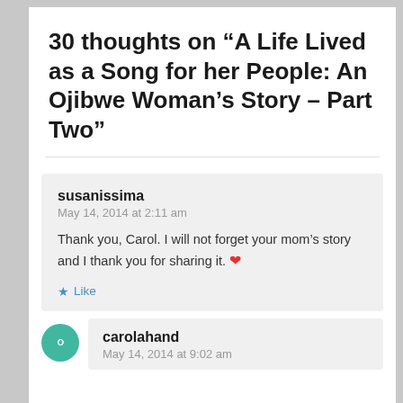30 thoughts on “A Life Lived as a Song for her People: An Ojibwe Woman’s Story – Part Two”
susanissima
May 14, 2014 at 2:11 am

Thank you, Carol. I will not forget your mom’s story and I thank you for sharing it. ❤️

Like
carolahand
May 14, 2014 at 9:02 am